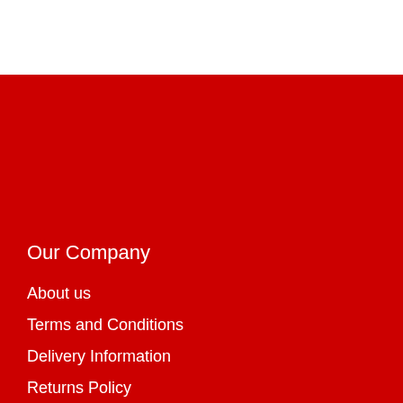Our Company
About us
Terms and Conditions
Delivery Information
Returns Policy